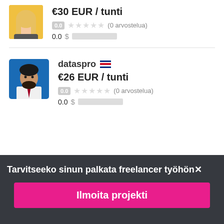[Figure (photo): Avatar photo of a blonde woman with yellow background, cropped at top]
€30 EUR / tunti
0.0 ★★★★★ (0 arvostelua)
0.0 $█████████
[Figure (photo): Avatar photo of a bearded man in white shirt on blue background - dataspro profile]
dataspro 🇨🇷
€26 EUR / tunti
0.0 ★★★★★ (0 arvostelua)
0.0 $█████████
Tarvitseeko sinun palkata freelancer työhön✕
Ilmoita projekti